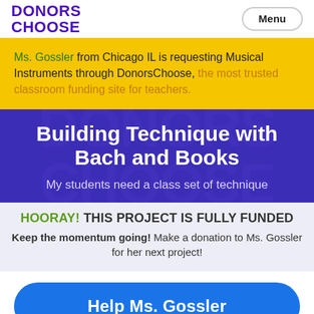DONORS CHOOSE | Menu
Ms. Gossler from Chicago IL is requesting Musical Instruments through DonorsChoose, the most trusted classroom funding site for teachers.
Building Technique with Bach and Books
My students need a class set of technique
HOORAY! THIS PROJECT IS FULLY FUNDED
Keep the momentum going! Make a donation to Ms. Gossler for her next project!
Help Ms. Gossler